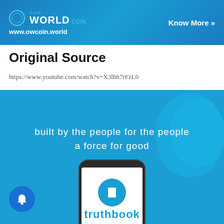[Figure (screenshot): OurWorld.coin advertisement banner with blue gradient background, logo, www.owcoin.world URL, and 'Know More >>' button]
Original Source
https://www.youtube.com/watch?v=X3lbh7rFzL0
[Figure (screenshot): Blue promotional image with text 'built by the people for the people a force for good', smartphone mockup, woman's face in background, and 'truthbook' branding. Includes a notification popup: 'Trudeau: Climate Change to Blame for Increased, 20 hours ago', a notification bell icon with badge showing 3, and an X close button.]